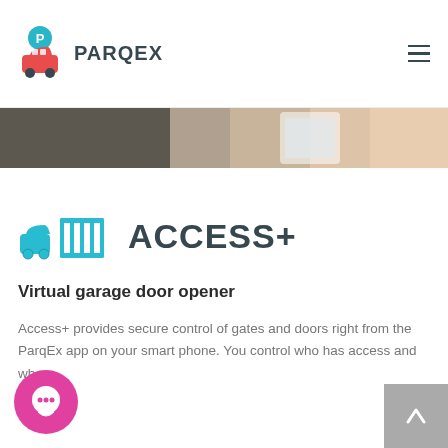[Figure (logo): ParqEx logo: teal car with parking pin icon and PARQEX text, plus hamburger menu icon on the right]
[Figure (photo): Cropped hero image strip showing a person holding a smartphone, with dark and skin-tone background]
[Figure (logo): ACCESS+ product logo: teal car approaching a gate icon with ACCESS+ text in dark gray]
Virtual garage door opener
Access+ provides secure control of gates and doors right from the ParqEx app on your smart phone. You control who has access and when.
[Figure (illustration): Magenta circular chat bubble icon in the bottom left corner]
[Figure (illustration): Gray back-to-top button with upward arrow in the bottom right corner]